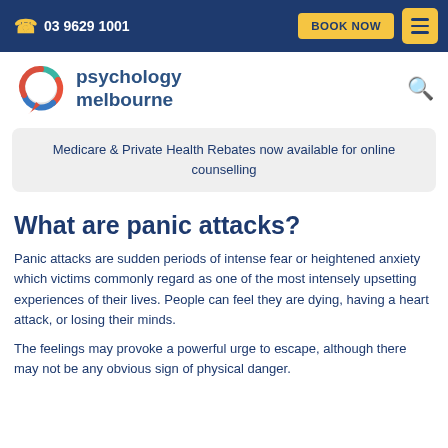03 9629 1001 | BOOK NOW
[Figure (logo): Psychology Melbourne logo with colourful speech bubble icon]
Medicare & Private Health Rebates now available for online counselling
What are panic attacks?
Panic attacks are sudden periods of intense fear or heightened anxiety which victims commonly regard as one of the most intensely upsetting experiences of their lives. People can feel they are dying, having a heart attack, or losing their minds.
The feelings may provoke a powerful urge to escape, although there may not be any obvious sign of physical danger.